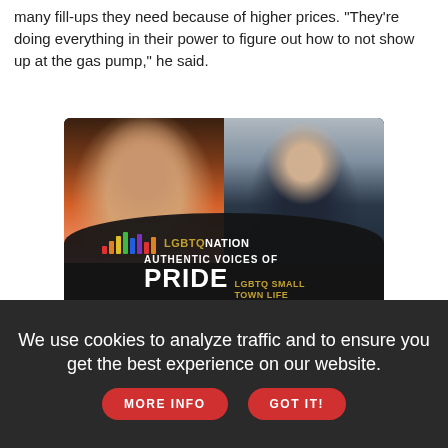many fill-ups they need because of higher prices. "They're doing everything in their power to figure out how to not show up at the gas pump," he said.
[Figure (photo): Advertisement for LGBTQ Nation Authentic Voices of Pride - LGBTQ Small Town Life, sponsored by Chevrolet. Shows two portraits: a Black drag performer with big hair and colorful eye makeup on the left, and a young Latino man on the right. The ad has a dark overlay with the LGBTQ Nation logo (colorful audio bars), text 'AUTHENTIC VOICES OF PRIDE LGBTQ SMALL TOWN LIFE', Chevrolet logo, and a teal 'Learn More' button.]
White House correspondent Darlene said with a version of the...
We use cookies to analyze traffic and to ensure you get the best experience on our website.
MORE INFO
GOT IT!